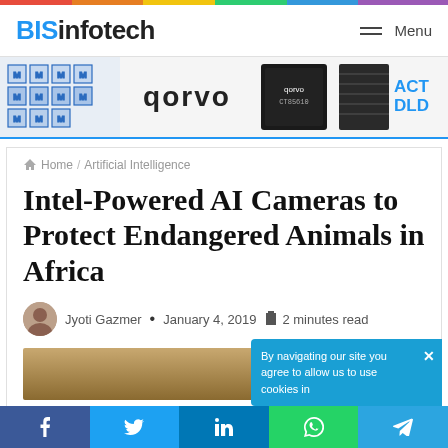BISinfotech — Menu
[Figure (illustration): Advertisement banner with logos: Molex (blue geometric pattern), Qorvo (dark chip component), ACT DLD brand]
Home / Artificial Intelligence
Intel-Powered AI Cameras to Protect Endangered Animals in Africa
Jyoti Gazmer · January 4, 2019 · 2 minutes read
[Figure (photo): Partial photo of an animal in Africa, bottom of content area]
By navigating our site you agree to allow us to use cookies in...